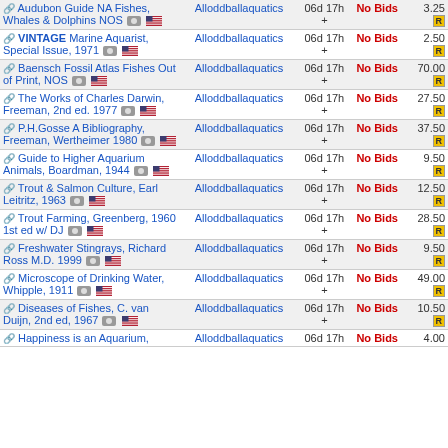| Title | Seller | Time | Bids | Price |
| --- | --- | --- | --- | --- |
| Audubon Guide NA Fishes, Whales & Dolphins NOS | Alloddballaquatics | 06d 17h + | No Bids | 3.25 |
| VINTAGE Marine Aquarist, Special Issue, 1971 | Alloddballaquatics | 06d 17h + | No Bids | 2.50 |
| Baensch Fossil Atlas Fishes Out of Print, NOS | Alloddballaquatics | 06d 17h + | No Bids | 70.00 |
| The Works of Charles Darwin, Freeman, 2nd ed. 1977 | Alloddballaquatics | 06d 17h + | No Bids | 27.50 |
| P.H.Gosse A Bibliography, Freeman, Wertheimer 1980 | Alloddballaquatics | 06d 17h + | No Bids | 37.50 |
| Guide to Higher Aquarium Animals, Boardman, 1944 | Alloddballaquatics | 06d 17h + | No Bids | 9.50 |
| Trout & Salmon Culture, Earl Leitritz, 1963 | Alloddballaquatics | 06d 17h + | No Bids | 12.50 |
| Trout Farming, Greenberg, 1960 1st ed w/ DJ | Alloddballaquatics | 06d 17h + | No Bids | 28.50 |
| Freshwater Stingrays, Richard Ross M.D. 1999 | Alloddballaquatics | 06d 17h + | No Bids | 9.50 |
| Microscope of Drinking Water, Whipple, 1911 | Alloddballaquatics | 06d 17h + | No Bids | 49.00 |
| Diseases of Fishes, C. van Duijn, 2nd ed, 1967 | Alloddballaquatics | 06d 17h + | No Bids | 10.50 |
| Happiness is an Aquarium, | Alloddballaquatics | 06d 17h | No Bids | 4.00 |